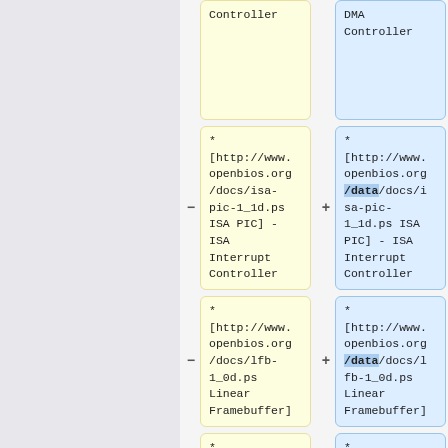[Figure (other): Diff view showing two columns of code/wiki list items. Left column (yellow, removed) and right column (blue, added) showing changes to URL references. Top partial cells show 'Controller' text. Second row: ISA PIC link minus/plus. Third row: lfb-1_0d.ps link minus/plus. Fourth row (partial): asterisk items start.]